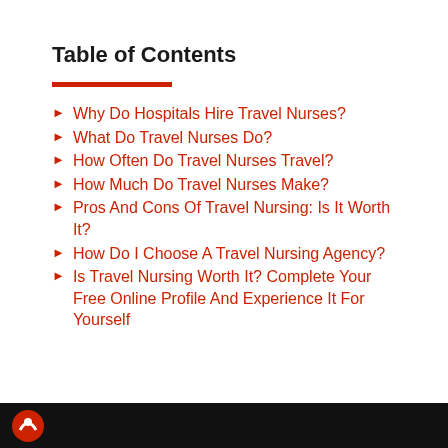Table of Contents
Why Do Hospitals Hire Travel Nurses?
What Do Travel Nurses Do?
How Often Do Travel Nurses Travel?
How Much Do Travel Nurses Make?
Pros And Cons Of Travel Nursing: Is It Worth It?
How Do I Choose A Travel Nursing Agency?
Is Travel Nursing Worth It? Complete Your Free Online Profile And Experience It For Yourself
[Figure (logo): Dark footer bar with a red and white logo on the left side]